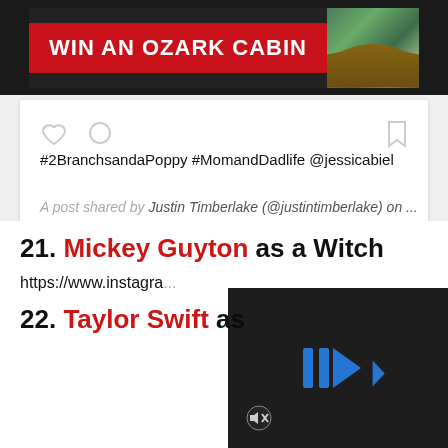[Figure (screenshot): Advertisement banner: WIN AN OZARK CABIN with cabin photo]
[Figure (screenshot): Social media post card with heart, comment, bookmark icons. Post text: #2BranchsandaPoppy #MomandDadlife @jessicabiel. Caption: A post shared by Justin Timberlake (@justintimberlake) on ...]
21. Mickey Guyton as a Witch
https://www.instagra...
22. Taylor Swift as ...
[Figure (screenshot): Video player overlay with blue play/forward icons on dark background and mute icon]